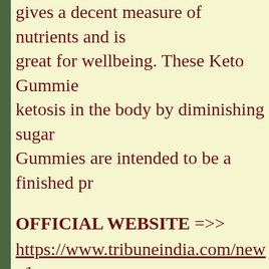gives a decent measure of nutrients and is great for wellbeing. These Keto Gummies ketosis in the body by diminishing sugar Gummies are intended to be a finished pr
OFFICIAL WEBSITE =>>
https://www.tribuneindia.com/news/brand keto-gummies-reviews-weight-loss-scam 422355
https://www.outlookindia.com/outlook-sp prodentim-customer-reviews-uk-nz-austr buying-from-official-website-is-prodenti logit-news-216719